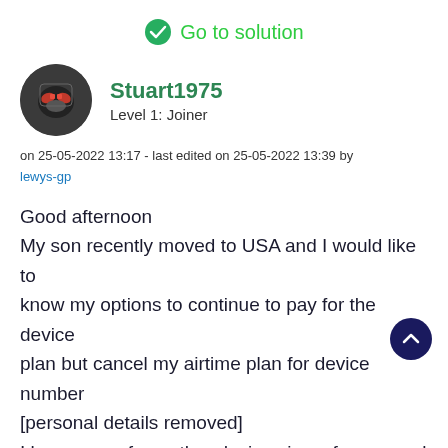Go to solution
Stuart1975
Level 1: Joiner
on 25-05-2022 13:17 - last edited on 25-05-2022 13:39 by lewys-gp
Good afternoon
My son recently moved to USA and I would like to know my options to continue to pay for the device plan but cancel my airtime plan for device number [personal details removed]
I know one of my other devices is up for renewal this year so is there something we can look at?
Kind regards
Stuart...